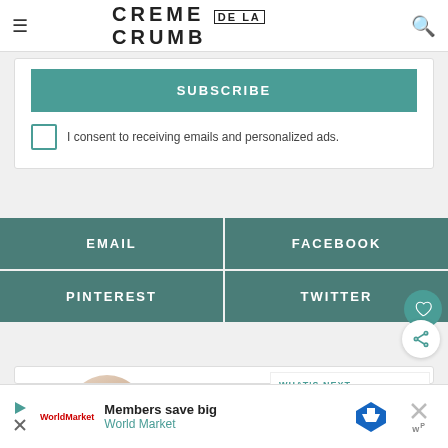CREME DE LA CRUMB
[Figure (screenshot): Subscribe button with teal background and consent checkbox below]
I consent to receiving emails and personalized ads.
[Figure (infographic): Social share buttons grid: EMAIL, FACEBOOK, PINTEREST, TWITTER in teal]
[Figure (photo): Circular author photo of a woman with long dark hair smiling in a kitchen]
WHAT'S NEXT → Honey Lime Salmon with...
[Figure (photo): World Market advertisement banner: Members save big]
Members save big World Market